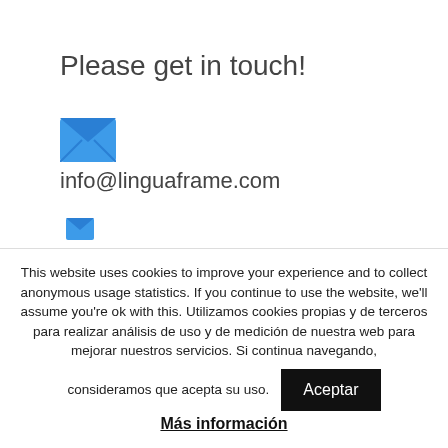Please get in touch!
[Figure (illustration): Blue envelope/email icon]
info@linguaframe.com
This website uses cookies to improve your experience and to collect anonymous usage statistics. If you continue to use the website, we'll assume you're ok with this. Utilizamos cookies propias y de terceros para realizar análisis de uso y de medición de nuestra web para mejorar nuestros servicios. Si continua navegando, consideramos que acepta su uso.
Aceptar
Más información